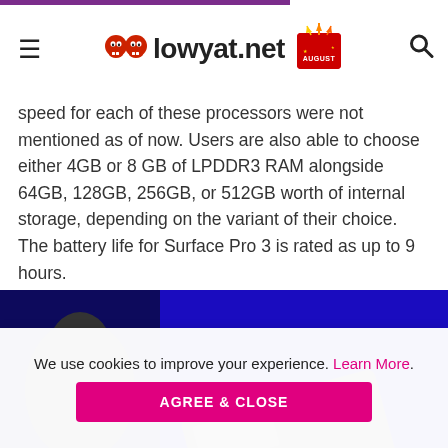lowyat.net
speed for each of these processors were not mentioned as of now. Users are also able to choose either 4GB or 8 GB of LPDDR3 RAM alongside 64GB, 128GB, 256GB, or 512GB worth of internal storage, depending on the variant of their choice. The battery life for Surface Pro 3 is rated as up to 9 hours.
[Figure (photo): Product photo of Microsoft Surface Pro 3 on a blue background with a person holding it]
We use cookies to improve your experience. Learn More. AGREE & CLOSE